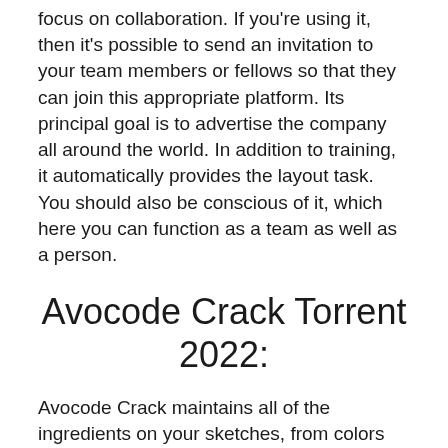focus on collaboration. If you're using it, then it's possible to send an invitation to your team members or fellows so that they can join this appropriate platform. Its principal goal is to advertise the company all around the world. In addition to training, it automatically provides the layout task. You should also be conscious of it, which here you can function as a team as well as a person.
Avocode Crack Torrent 2022:
Avocode Crack maintains all of the ingredients on your sketches, from colors and picture formatting to measurements.